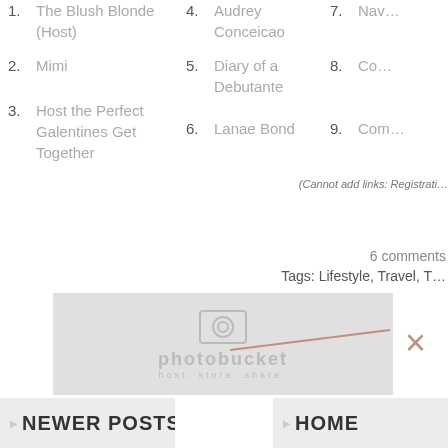1. The Blush Blonde (Host)
2. Mimi
3. Host the Perfect Galentines Get Together
4. Audrey Conceicao
5. Diary of a Debutante
6. Lanae Bond
7. Nav…
8. Co…
9. Com…
(Cannot add links: Registrati…
6 comments
Tags: Lifestyle, Travel, T…
[Figure (photo): Photobucket placeholder image with logo and tagline 'host. store. share.']
NEWER POSTS
HOME